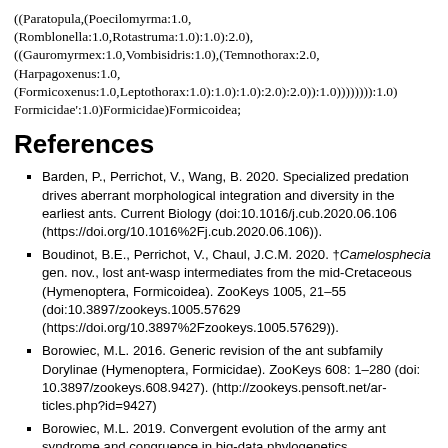((Paratopula,(Poecilomyrma:1.0,(Romblonella:1.0,Rotastruma:1.0):1.0):2.0),((Gauromyrmex:1.0,Vombisidris:1.0),(Temnothorax:2.0,(Harpagoxenus:1.0,(Formicoxenus:1.0,Leptothorax:1.0):1.0):1.0):2.0):2.0)):1.0))))))):1.0)Formicidae':1.0)Formicidae)Formicoidea;
References
Barden, P., Perrichot, V., Wang, B. 2020. Specialized predation drives aberrant morphological integration and diversity in the earliest ants. Current Biology (doi:10.1016/j.cub.2020.06.106 (https://doi.org/10.1016%2Fj.cub.2020.06.106)).
Boudinot, B.E., Perrichot, V., Chaul, J.C.M. 2020. †Camelosphecia gen. nov., lost ant-wasp intermediates from the mid-Cretaceous (Hymenoptera, Formicoidea). ZooKeys 1005, 21–55 (doi:10.3897/zookeys.1005.57629 (https://doi.org/10.3897%2Fzookeys.1005.57629)).
Borowiec, M.L. 2016. Generic revision of the ant subfamily Dorylinae (Hymenoptera, Formicidae). ZooKeys 608: 1–280 (doi: 10.3897/zookeys.608.9427). (http://zookeys.pensoft.net/articles.php?id=9427)
Borowiec, M.L. 2019. Convergent evolution of the army ant syndrome and congruence in big-data phylogenetics.